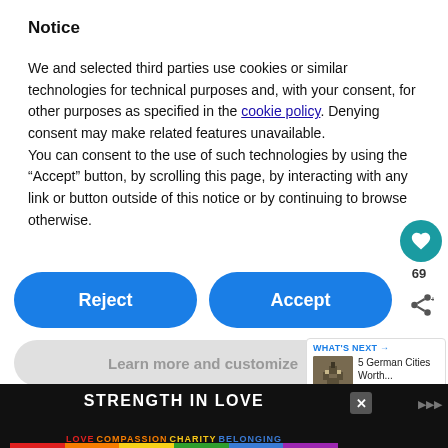Notice
We and selected third parties use cookies or similar technologies for technical purposes and, with your consent, for other purposes as specified in the cookie policy. Denying consent may make related features unavailable.
You can consent to the use of such technologies by using the “Accept” button, by scrolling this page, by interacting with any link or button outside of this notice or by continuing to browse otherwise.
[Figure (other): Reject and Accept cookie consent buttons (blue rounded rectangles), Learn more and customize button (light grey rounded rectangle), heart/like icon button (teal circle with heart, count 69), share icon]
[Figure (other): What's Next panel with castle thumbnail image and text '5 German Cities Worth...']
disappoint with their humorous street art and
[Figure (other): Advertisement banner: 'STRENGTH IN LOVE' on black background with rainbow-colored 'LOVE COMPASSION CHARITY BELONGING' text at bottom]